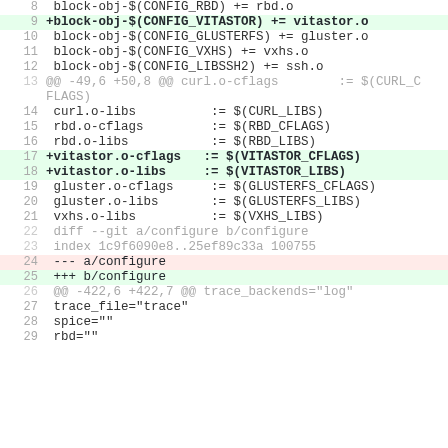Diff view showing code changes for block drivers and configure files
8   block-obj-$(CONFIG_RBD) += rbd.o
9  +block-obj-$(CONFIG_VITASTOR) += vitastor.o
10  block-obj-$(CONFIG_GLUSTERFS) += gluster.o
11  block-obj-$(CONFIG_VXHS) += vxhs.o
12  block-obj-$(CONFIG_LIBSSH2) += ssh.o
13 @@ -49,6 +50,8 @@ curl.o-cflags        := $(CURL_CFLAGS)
14  curl.o-libs          := $(CURL_LIBS)
15  rbd.o-cflags         := $(RBD_CFLAGS)
16  rbd.o-libs           := $(RBD_LIBS)
17 +vitastor.o-cflags   := $(VITASTOR_CFLAGS)
18 +vitastor.o-libs     := $(VITASTOR_LIBS)
19  gluster.o-cflags     := $(GLUSTERFS_CFLAGS)
20  gluster.o-libs       := $(GLUSTERFS_LIBS)
21  vxhs.o-libs          := $(VXHS_LIBS)
22  diff --git a/configure b/configure
23  index 1c9f6090e8..25ef89c33a 100755
24 --- a/configure
25 +++ b/configure
26 @@ -422,6 +422,7 @@ trace_backends="log"
27  trace_file="trace"
28  spice=""
29  rbd=""